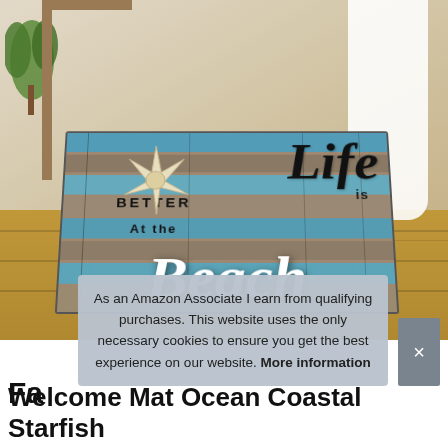[Figure (photo): Product photo of a beach-themed welcome mat placed on a wood floor near a doorway. The mat has a rustic wooden plank design with blue and gray stripes, a white starfish, and the text 'Life is BETTER At the Beach' in decorative script and sans-serif fonts.]
As an Amazon Associate I earn from qualifying purchases. This website uses the only necessary cookies to ensure you get the best experience on our website. More information
Fa
Welcome Mat Ocean Coastal Starfish